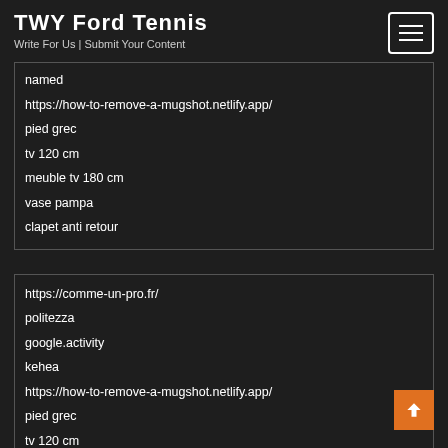TWY Ford Tennis
Write For Us | Submit Your Content
named
https://how-to-remove-a-mugshot.netlify.app/
pied grec
tv 120 cm
meuble tv 180 cm
vase pampa
clapet anti retour
https://comme-un-pro.fr/
politezza
google.activity
kehea
https://how-to-remove-a-mugshot.netlify.app/
pied grec
tv 120 cm
meuble tv 180 cm